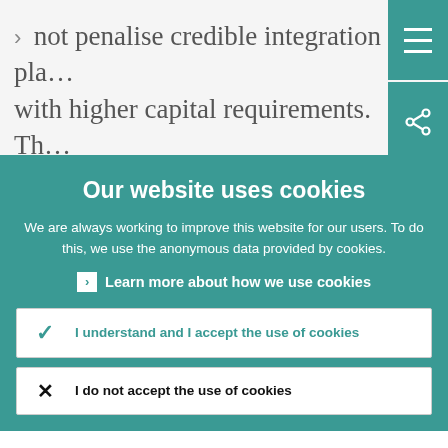not penalise credible integration plans with higher capital requirements. The starting point for capital will be the weighted average of the two banks'
Our website uses cookies
We are always working to improve this website for our users. To do this, we use the anonymous data provided by cookies.
Learn more about how we use cookies
I understand and I accept the use of cookies
I do not accept the use of cookies